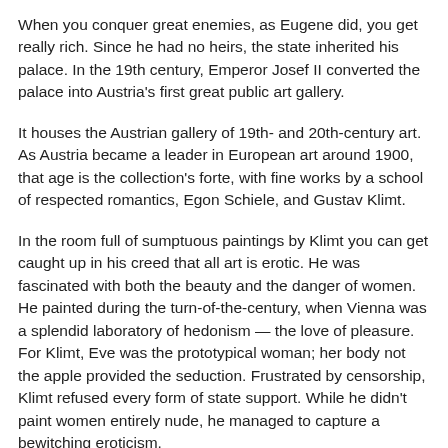When you conquer great enemies, as Eugene did, you get really rich. Since he had no heirs, the state inherited his palace. In the 19th century, Emperor Josef II converted the palace into Austria's first great public art gallery.
It houses the Austrian gallery of 19th- and 20th-century art. As Austria became a leader in European art around 1900, that age is the collection's forte, with fine works by a school of respected romantics, Egon Schiele, and Gustav Klimt.
In the room full of sumptuous paintings by Klimt you can get caught up in his creed that all art is erotic. He was fascinated with both the beauty and the danger of women. He painted during the turn-of-the-century, when Vienna was a splendid laboratory of hedonism — the love of pleasure. For Klimt, Eve was the prototypical woman; her body not the apple provided the seduction. Frustrated by censorship, Klimt refused every form of state support. While he didn't paint women entirely nude, he managed to capture a bewitching eroticism.